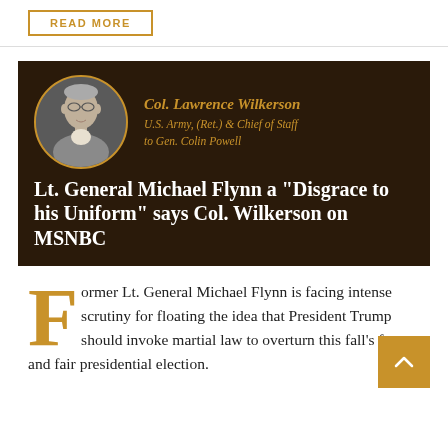READ MORE
[Figure (infographic): Dark brown banner featuring a circular black-and-white portrait photo of Col. Lawrence Wilkerson with a gold border, his name and title in gold italic text, and a white bold headline about Lt. General Michael Flynn]
Lt. General Michael Flynn a “Disgrace to his Uniform” says Col. Wilkerson on MSNBC
Former Lt. General Michael Flynn is facing intense scrutiny for floating the idea that President Trump should invoke martial law to overturn this fall’s free and fair presidential election.